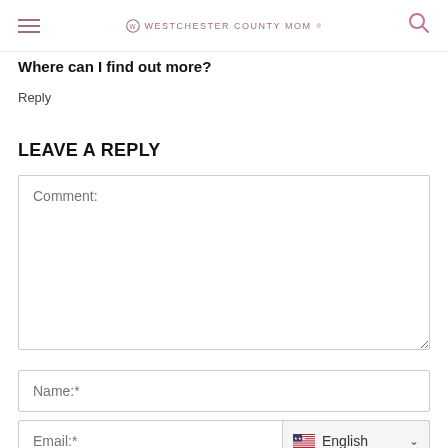WESTCHESTER COUNTY MOM
Where can I find out more?
Reply
LEAVE A REPLY
Comment:
Name:*
Email:*
English